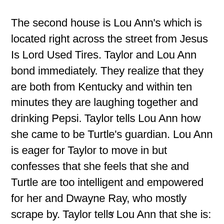The second house is Lou Ann's which is located right across the street from Jesus Is Lord Used Tires. Taylor and Lou Ann bond immediately. They realize that they are both from Kentucky and within ten minutes they are laughing together and drinking Pepsi. Taylor tells Lou Ann how she came to be Turtle's guardian. Lou Ann is eager for Taylor to move in but confesses that she feels that she and Turtle are too intelligent and empowered for her and Dwayne Ray, who mostly scrape by. Taylor tells Lou Ann that she is: "just a plain hillbilly from East Jesus Nowhere with this adopted child that everybody keeps telling me is dumb as a box
v